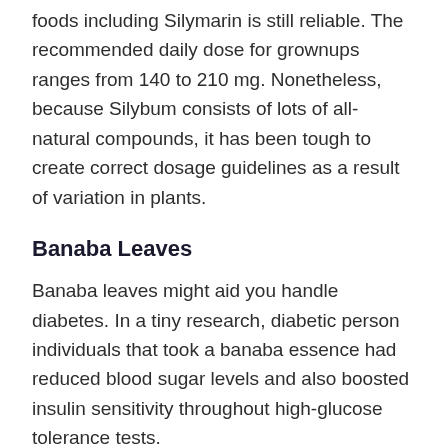foods including Silymarin is still reliable. The recommended daily dose for grownups ranges from 140 to 210 mg. Nonetheless, because Silybum consists of lots of all-natural compounds, it has been tough to create correct dosage guidelines as a result of variation in plants.
Banaba Leaves
Banaba leaves might aid you handle diabetes. In a tiny research, diabetic person individuals that took a banaba essence had reduced blood sugar levels and also boosted insulin sensitivity throughout high-glucose tolerance tests.
An additional animal research study located that the gallotannins in banaba had hypoglycemic